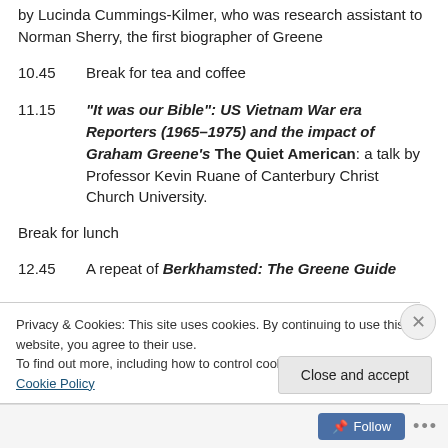by Lucinda Cummings-Kilmer, who was research assistant to Norman Sherry, the first biographer of Greene
10.45    Break for tea and coffee
11.15    "It was our Bible": US Vietnam War era Reporters (1965–1975) and the impact of Graham Greene's The Quiet American: a talk by Professor Kevin Ruane of Canterbury Christ Church University.
Break for lunch
12.45    A repeat of Berkhamsted: The Greene Guide
Privacy & Cookies: This site uses cookies. By continuing to use this website, you agree to their use. To find out more, including how to control cookies, see here: Cookie Policy